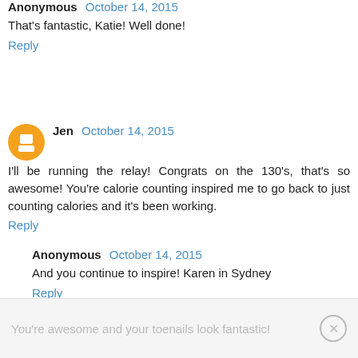Anonymous October 14, 2015
That's fantastic, Katie! Well done!
Reply
Jen October 14, 2015
I'll be running the relay! Congrats on the 130's, that's so awesome! You're calorie counting inspired me to go back to just counting calories and it's been working.
Reply
Anonymous October 14, 2015
And you continue to inspire! Karen in Sydney
Reply
Anonymous October 14, 2015
You're awesome and your toenails look fantastic!